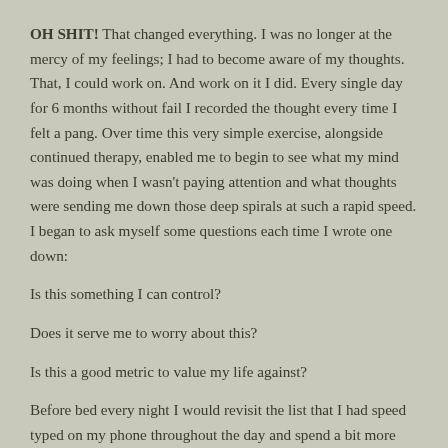OH SHIT! That changed everything. I was no longer at the mercy of my feelings; I had to become aware of my thoughts. That, I could work on. And work on it I did. Every single day for 6 months without fail I recorded the thought every time I felt a pang. Over time this very simple exercise, alongside continued therapy, enabled me to begin to see what my mind was doing when I wasn't paying attention and what thoughts were sending me down those deep spirals at such a rapid speed. I began to ask myself some questions each time I wrote one down:
Is this something I can control?
Does it serve me to worry about this?
Is this a good metric to value my life against?
Before bed every night I would revisit the list that I had speed typed on my phone throughout the day and spend a bit more time being curious about these thoughts. Were they real? Did they even come true? Interesting that one comes up every day…